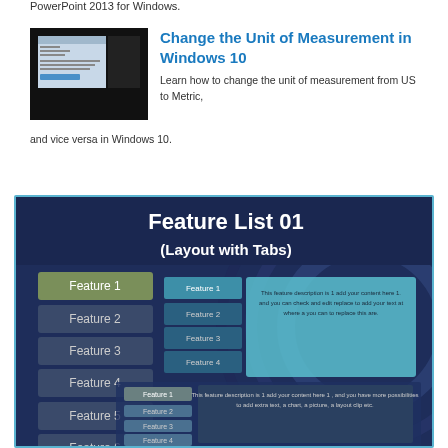PowerPoint 2013 for Windows.
[Figure (screenshot): Screenshot thumbnail of Windows 10 settings screen with dark background]
Change the Unit of Measurement in Windows 10
Learn how to change the unit of measurement from US to Metric, and vice versa in Windows 10.
[Figure (screenshot): PowerPoint slide template showing 'Feature List 01 (Layout with Tabs)' with feature tabs on the left (Feature 1 through Feature 6) and content area on the right showing sub-tabs and description text area]